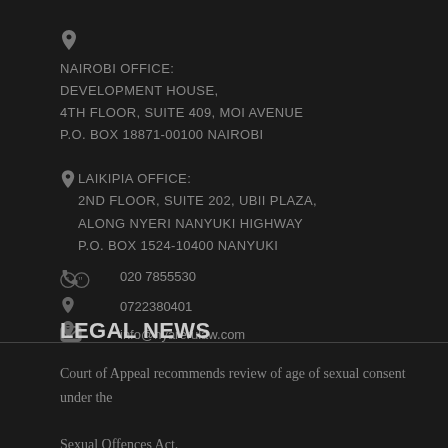📍 NAIROBI OFFICE: DEVELOPMENT HOUSE, 4TH FLOOR, SUITE 409, MOI AVENUE P.O. BOX 18871-00100 NAIROBI
📍 LAIKIPIA OFFICE: 2ND FLOOR, SUITE 202, UBII PLAZA, ALONG NYERI NANYUKI HIGHWAY P.O. BOX 1524-10400 NANYUKI
📞 020 7855530
0722380401
✉ info@nyarerulaw.com
[Figure (other): Social/location icons (double pin, single pin, single pin)]
LEGAL NEWS
Court of Appeal recommends review of age of sexual consent under the Sexual Offences Act.